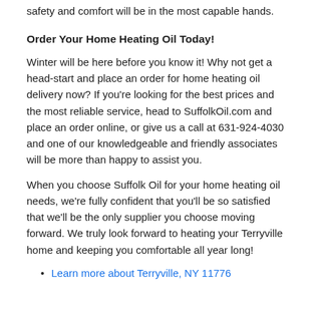safety and comfort will be in the most capable hands.
Order Your Home Heating Oil Today!
Winter will be here before you know it! Why not get a head-start and place an order for home heating oil delivery now? If you're looking for the best prices and the most reliable service, head to SuffolkOil.com and place an order online, or give us a call at 631-924-4030 and one of our knowledgeable and friendly associates will be more than happy to assist you.
When you choose Suffolk Oil for your home heating oil needs, we're fully confident that you'll be so satisfied that we'll be the only supplier you choose moving forward. We truly look forward to heating your Terryville home and keeping you comfortable all year long!
Learn more about Terryville, NY 11776